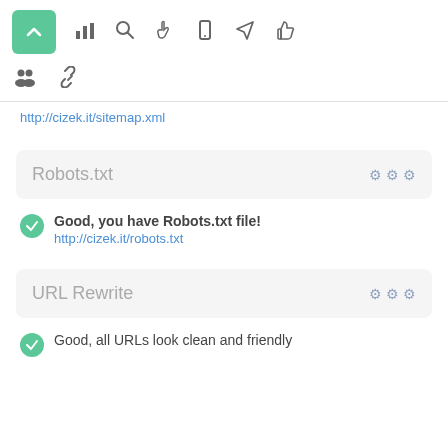[Figure (screenshot): Navigation toolbar with green up-arrow button and icons for bar chart, search, hand/cursor, mobile, rocket/send, thumbs-up, people/group, and chain-link]
http://cizek.it/sitemap.xml
Robots.txt
Good, you have Robots.txt file!
http://cizek.it/robots.txt
URL Rewrite
Good, all URLs look clean and friendly